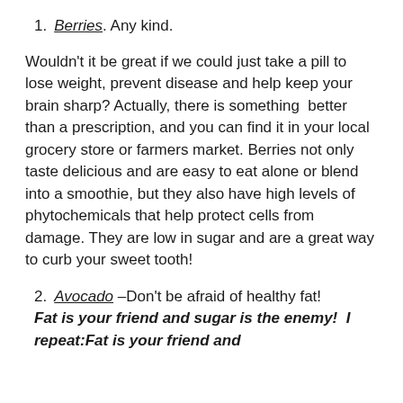1. Berries. Any kind.
Wouldn't it be great if we could just take a pill to lose weight, prevent disease and help keep your brain sharp? Actually, there is something  better than a prescription, and you can find it in your local grocery store or farmers market. Berries not only taste delicious and are easy to eat alone or blend into a smoothie, but they also have high levels of phytochemicals that help protect cells from damage. They are low in sugar and are a great way to curb your sweet tooth!
2. Avocado –Don't be afraid of healthy fat! Fat is your friend and sugar is the enemy!  I repeat:Fat is your friend and sugar is the enemy! Eat healthy fat!